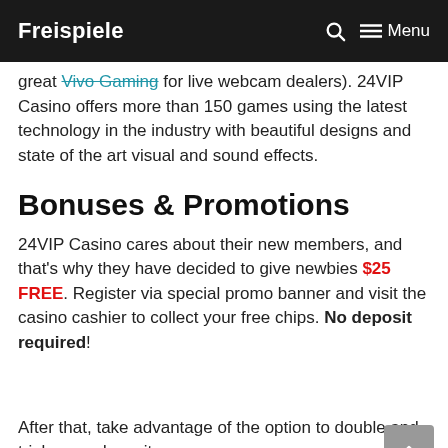Freispiele  🔍  ≡ Menu
great Vivo Gaming for live webcam dealers). 24VIP Casino offers more than 150 games using the latest technology in the industry with beautiful designs and state of the art visual and sound effects.
Bonuses & Promotions
24VIP Casino cares about their new members, and that's why they have decided to give newbies $25 FREE. Register via special promo banner and visit the casino cashier to collect your free chips. No deposit required!
After that, take advantage of the option to double and triple your deposits, once you